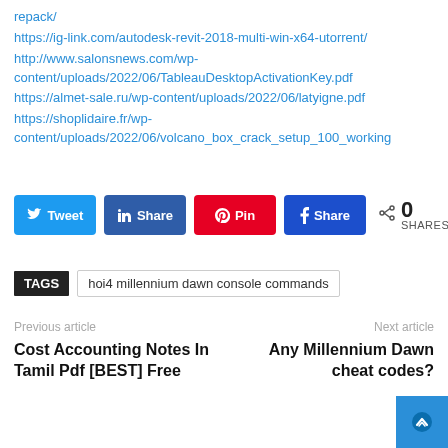repack/
https://ig-link.com/autodesk-revit-2018-multi-win-x64-utorrent/
http://www.salonsnews.com/wp-content/uploads/2022/06/TableauDesktopActivationKey.pdf
https://almet-sale.ru/wp-content/uploads/2022/06/latyigne.pdf
https://shoplidaire.fr/wp-content/uploads/2022/06/volcano_box_crack_setup_100_working
[Figure (infographic): Social share buttons: Twitter (blue), LinkedIn (dark blue), Pinterest (red), Facebook (blue), and a share count showing 0 SHARES]
TAGS   hoi4 millennium dawn console commands
Previous article
Cost Accounting Notes In Tamil Pdf [BEST] Free
Next article
Any Millennium Dawn cheat codes?